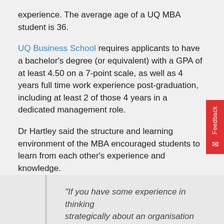experience. The average age of a UQ MBA student is 36.
UQ Business School requires applicants to have a bachelor's degree (or equivalent) with a GPA of at least 4.50 on a 7-point scale, as well as 4 years full time work experience post-graduation, including at least 2 of those 4 years in a dedicated management role.
Dr Hartley said the structure and learning environment of the MBA encouraged students to learn from each other's experience and knowledge.
“This doesn’t mean you need to be the CEO of a company,” she said. “We have people from non-business backgrounds, from the arts, the non-profit sector and small business all being accepted into the UQ MBA program.”
“If you have some experience in thinking strategically about an organisation